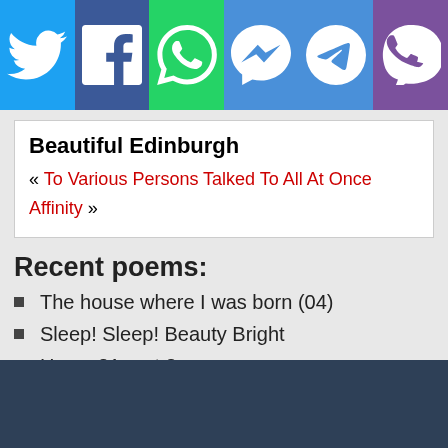[Figure (infographic): Social sharing buttons bar: Twitter (blue), Facebook (dark blue), WhatsApp (green), Messenger (blue), Telegram (blue), Viber (purple)]
Beautiful Edinburgh
« To Various Persons Talked To All At Once
Affinity »
Recent poems:
The house where I was born (04)
Sleep! Sleep! Beauty Bright
Hymn 31 part 2
An Ode to the Queen
Breaghy